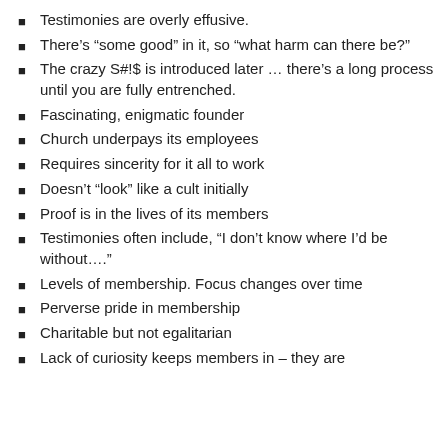Testimonies are overly effusive.
There’s “some good” in it, so “what harm can there be?”
The crazy S#!$ is introduced later … there’s a long process until you are fully entrenched.
Fascinating, enigmatic founder
Church underpays its employees
Requires sincerity for it all to work
Doesn’t “look” like a cult initially
Proof is in the lives of its members
Testimonies often include, “I don’t know where I’d be without….”
Levels of membership. Focus changes over time
Perverse pride in membership
Charitable but not egalitarian
Lack of curiosity keeps members in – they are